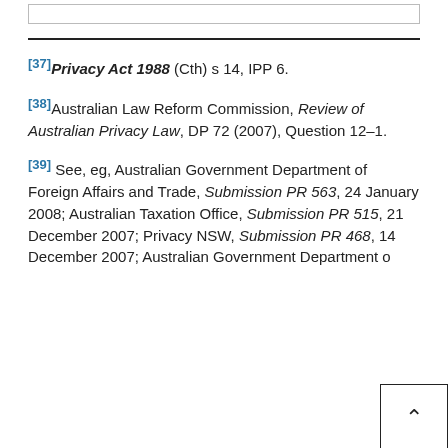[37] Privacy Act 1988 (Cth) s 14, IPP 6.
[38] Australian Law Reform Commission, Review of Australian Privacy Law, DP 72 (2007), Question 12–1.
[39] See, eg, Australian Government Department of Foreign Affairs and Trade, Submission PR 563, 24 January 2008; Australian Taxation Office, Submission PR 515, 21 December 2007; Privacy NSW, Submission PR 468, 14 December 2007; Australian Government Department o